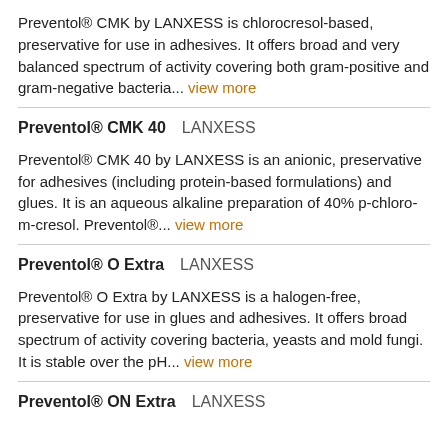Preventol® CMK by LANXESS is chlorocresol-based, preservative for use in adhesives. It offers broad and very balanced spectrum of activity covering both gram-positive and gram-negative bacteria... view more
Preventol® CMK 40    LANXESS
Preventol® CMK 40 by LANXESS is an anionic, preservative for adhesives (including protein-based formulations) and glues. It is an aqueous alkaline preparation of 40% p-chloro-m-cresol. Preventol®... view more
Preventol® O Extra    LANXESS
Preventol® O Extra by LANXESS is a halogen-free, preservative for use in glues and adhesives. It offers broad spectrum of activity covering bacteria, yeasts and mold fungi. It is stable over the pH... view more
Preventol® ON Extra    LANXESS